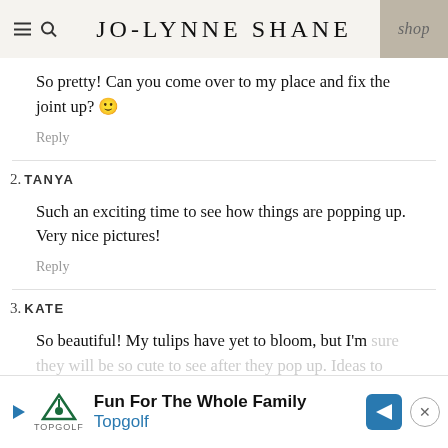JO-LYNNE SHANE
So pretty! Can you come over to my place and fix the joint up? 🙂
Reply
2. TANYA
Such an exciting time to see how things are popping up. Very nice pictures!
Reply
3. KATE
So beautiful! My tulips have yet to bloom, but I'm sure they will be so cute to see after they pop up. Ideas to show…
[Figure (other): Advertisement banner for Topgolf: 'Fun For The Whole Family' with Topgolf logo and navigation arrow icon]